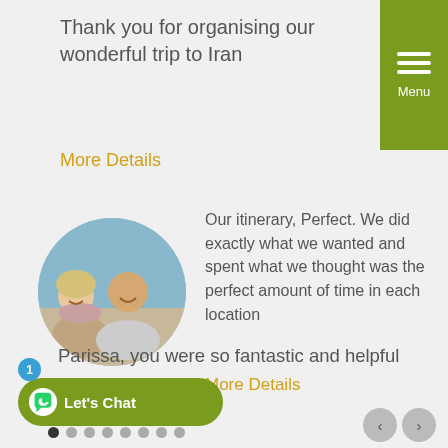Thank you for organising our wonderful trip to Iran
More Details
[Figure (photo): Circular photo of a couple, a woman with short blonde hair and a man who is bald, posing together outdoors against a blue sky.]
Our itinerary, Perfect. We did exactly what we wanted and spent what we thought was the perfect amount of time in each location
More Details
Parissa, you were so fantastic and helpful
[Figure (infographic): WhatsApp Let's Chat button with badge showing 1, and navigation dots and arrows at bottom]